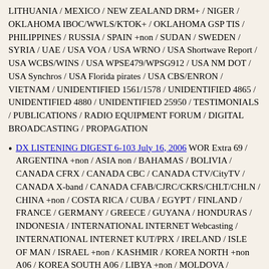LITHUANIA / MEXICO / NEW ZEALAND DRM+ / NIGER / OKLAHOMA IBOC/WWLS/KTOK+ / OKLAHOMA GSP TIS / PHILIPPINES / RUSSIA / SPAIN +non / SUDAN / SWEDEN / SYRIA / UAE / USA VOA / USA WRNO / USA Shortwave Report / USA WCBS/WINS / USA WPSE479/WPSG912 / USA NM DOT / USA Synchros / USA Florida pirates / USA CBS/ENRON / VIETNAM / UNIDENTIFIED 1561/1578 / UNIDENTIFIED 4865 / UNIDENTIFIED 4880 / UNIDENTIFIED 25950 / TESTIMONIALS / PUBLICATIONS / RADIO EQUIPMENT FORUM / DIGITAL BROADCASTING / PROPAGATION
DX LISTENING DIGEST 6-103 July 16, 2006 WOR Extra 69 / ARGENTINA +non / ASIA non / BAHAMAS / BOLIVIA / CANADA CFRX / CANADA CBC / CANADA CTV/CityTV / CANADA X-band / CANADA CFAB/CJRC/CKRS/CHLT/CHLN / CHINA +non / COSTA RICA / CUBA / EGYPT / FINLAND / FRANCE / GERMANY / GREECE / GUYANA / HONDURAS / INDONESIA / INTERNATIONAL INTERNET Webcasting / INTERNATIONAL INTERNET KUT/PRX / IRELAND / ISLE OF MAN / ISRAEL +non / KASHMIR / KOREA NORTH +non A06 / KOREA SOUTH A06 / LIBYA +non / MOLDOVA / MOROCCO / NETHERLANDS / OKLAHOMA KOSU+ / OKLAHOMA KTBZ/KAKC / OKLAHOMA KALV/KUSH/KBEL/KKUZ+ / PACIFIC Tonga+ / PERU / RUSSIA +non / SPAIN / TAIWAN non / UK BBCWS / USA +non